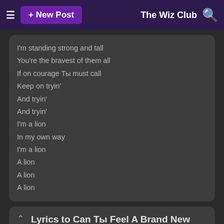≡ + New Post   The Wiz Club 🔍
I'm standing strong and tall
You're the bravest of them all
If on courage Ты must call
Keep on tryin'
And tryin'
And tryin'
I'm a lion
In my own way
I'm a lion
A lion
A lion
A lion
Lyrics to Can Ты Feel A Brand New день
posted by lucaslover528
Everybody look around
'Cause there's a reason to rejoice Ты see
Everybody come out
And let's commence to Пение joyfully
Everybody look up
And feel the hope that we've been waiting for